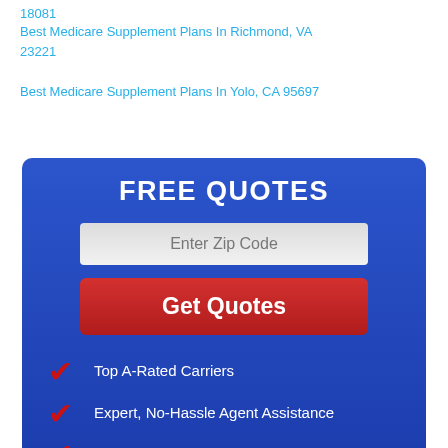18081
Best Medicare Supplement Plans In Richmond, VA 23221
Best Medicare Supplement Plans In Yolo, CA 95697
[Figure (infographic): Free Quotes widget with blue background, zip code input field, Get Quotes red button, and three checkmark bullet points: Top A-Rated Carriers, Expert No-Hassle Agent Assistance, All Consultation Services Are Free]